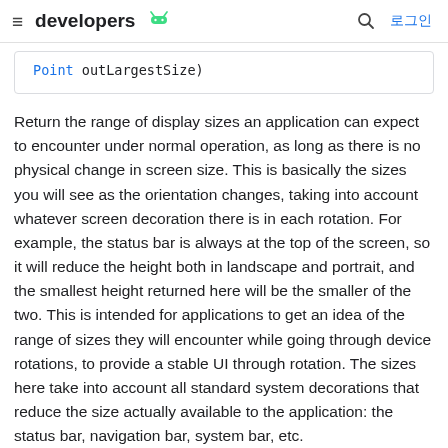≡ developers 🤖   🔍 로그인
Point outLargestSize)
Return the range of display sizes an application can expect to encounter under normal operation, as long as there is no physical change in screen size. This is basically the sizes you will see as the orientation changes, taking into account whatever screen decoration there is in each rotation. For example, the status bar is always at the top of the screen, so it will reduce the height both in landscape and portrait, and the smallest height returned here will be the smaller of the two. This is intended for applications to get an idea of the range of sizes they will encounter while going through device rotations, to provide a stable UI through rotation. The sizes here take into account all standard system decorations that reduce the size actually available to the application: the status bar, navigation bar, system bar, etc.